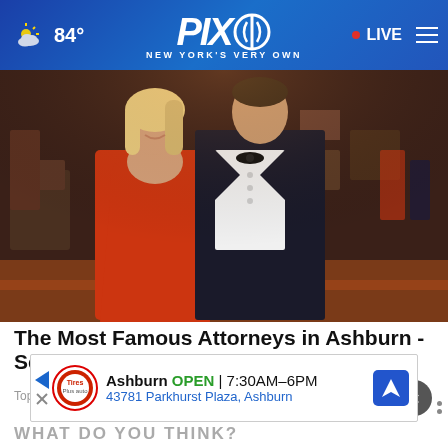PIX11 - NEW YORK'S VERY OWN | 84° | LIVE
[Figure (photo): A couple at a formal event. A woman in a red strapless gown and a man in a dark tuxedo with bow tie and boutonniere, standing together in a ballroom setting.]
The Most Famous Attorneys in Ashburn - See The List
Top Attorney | Sponsored Links
[Figure (screenshot): Advertisement banner: Tire Auto logo, Ashburn OPEN 7:30AM-6PM, 43781 Parkhurst Plaza, Ashburn, with navigation icon]
WHAT DO YOU THINK?